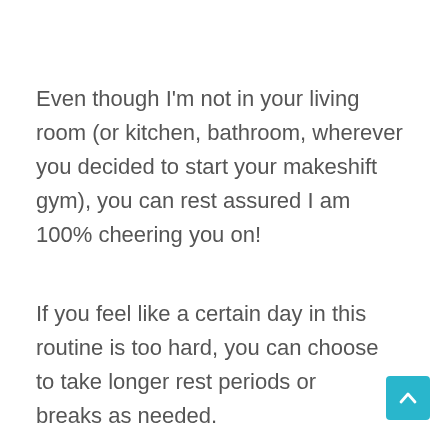Even though I'm not in your living room (or kitchen, bathroom, wherever you decided to start your makeshift gym), you can rest assured I am 100% cheering you on!
If you feel like a certain day in this routine is too hard, you can choose to take longer rest periods or breaks as needed.